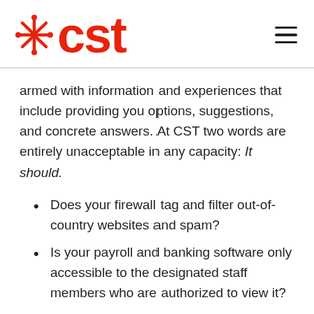[Figure (logo): CST logo with red snowflake/asterisk icon and red 'cst' text, plus hamburger menu icon on the right]
armed with information and experiences that include providing you options, suggestions, and concrete answers. At CST two words are entirely unacceptable in any capacity: It should.
Does your firewall tag and filter out-of-country websites and spam?
Is your payroll and banking software only accessible to the designated staff members who are authorized to view it?
Have you ever taken a fully backed-up copy of your entire operations and run a disaster recovery exercise on remote or virtual servers to